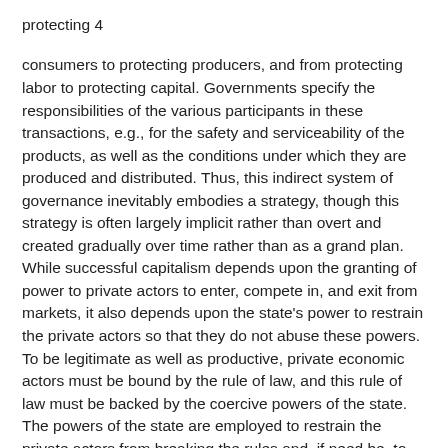protecting 4
consumers to protecting producers, and from protecting labor to protecting capital. Governments specify the responsibilities of the various participants in these transactions, e.g., for the safety and serviceability of the products, as well as the conditions under which they are produced and distributed. Thus, this indirect system of governance inevitably embodies a strategy, though this strategy is often largely implicit rather than overt and created gradually over time rather than as a grand plan. While successful capitalism depends upon the granting of power to private actors to enter, compete in, and exit from markets, it also depends upon the state's power to restrain the private actors so that they do not abuse these powers. To be legitimate as well as productive, private economic actors must be bound by the rule of law, and this rule of law must be backed by the coercive powers of the state. The powers of the state are employed to restrain the private actors from breaking the rules and, if need be, to settle disputes. Successful capitalism is contingent upon a state monopoly of coercive powers. However, the state's monopoly of legitimate coercive power implies that it has the power to tyrannize its subjects. As a result, successful